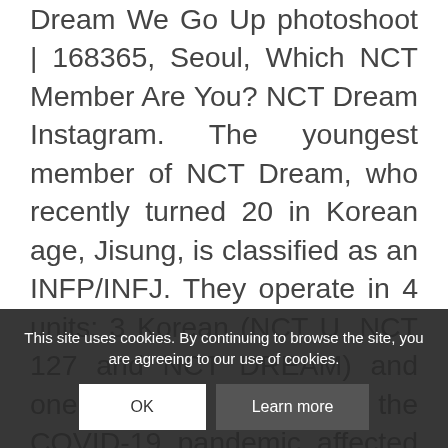Dream We Go Up photoshoot | 168365, Seoul, Which NCT Member Are You? NCT Dream Instagram. The youngest member of NCT Dream, who recently turned 20 in Korean age, Jisung, is classified as an INFP/INFJ. They operate in 4 units: 3 Korean (NCT U, NCT 127 and NCT DREAM) and one Chinese (WayV). , the COVID-19 pandemic affected NCT Dream's international tour. Entertainment founder Lee Soo-man gave a presentation at the SM Coex Artium titled "SMTOWN: New Culture Technology 2016". speaking about the their "cultu... at would be debuting di... n different countries around the world On August 18, S.M.
This site uses cookies. By continuing to browse the site, you are agreeing to our use of cookies.